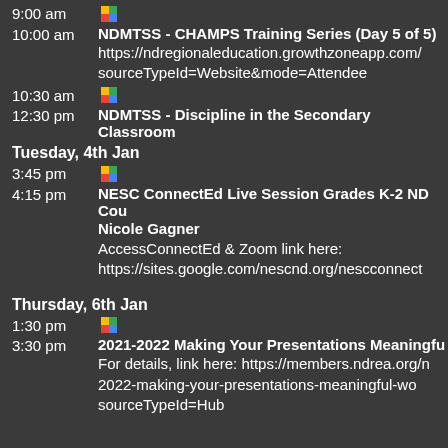9:00 am [icon]
10:00 am NDMTSS - CHAMPS Training Series (Day 5 of 5) https://ndregionaleducation.growthzoneapp.com/ sourceTypeId=Website&mode=Attendee
10:30 am [icon]
12:30 pm NDMTSS - Discipline in the Secondary Classroom
Tuesday, 4th Jan
3:45 pm [icon]
4:15 pm NESC ConnectEd Live Session Grades K-2 ND Cou Nicole Gagner AccessConnectEd & Zoom link here: https://sites.google.com/nescnd.org/nescconnect
Thursday, 6th Jan
1:30 pm [icon]
3:30 pm 2021-2022 Making Your Presentations Meaningful For details, link here: https://members.ndrea.org/n 2022-making-your-presentations-meaningful-wo sourceTypeId=Hub